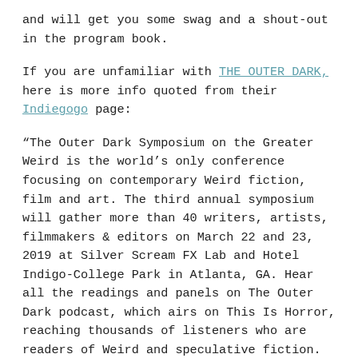and will get you some swag and a shout-out in the program book.
If you are unfamiliar with THE OUTER DARK, here is more info quoted from their Indiegogo page:
“The Outer Dark Symposium on the Greater Weird is the world’s only conference focusing on contemporary Weird fiction, film and art. The third annual symposium will gather more than 40 writers, artists, filmmakers & editors on March 22 and 23, 2019 at Silver Scream FX Lab and Hotel Indigo-College Park in Atlanta, GA. Hear all the readings and panels on The Outer Dark podcast, which airs on This Is Horror, reaching thousands of listeners who are readers of Weird and speculative fiction.
“CURATED PROGRAM PARTICIPANTS: With all